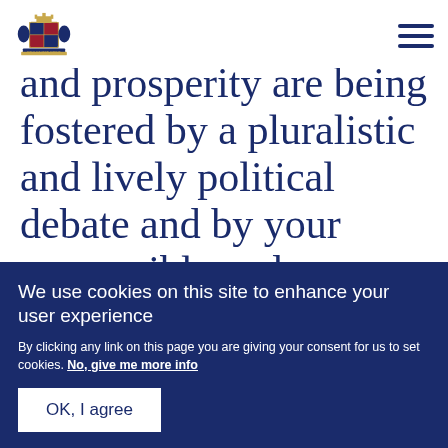[UK Government Crest logo] [Hamburger menu icon]
and prosperity are being fostered by a pluralistic and lively political debate and by your responsible and forward-looking
We use cookies on this site to enhance your user experience
By clicking any link on this page you are giving your consent for us to set cookies. No, give me more info
OK, I agree